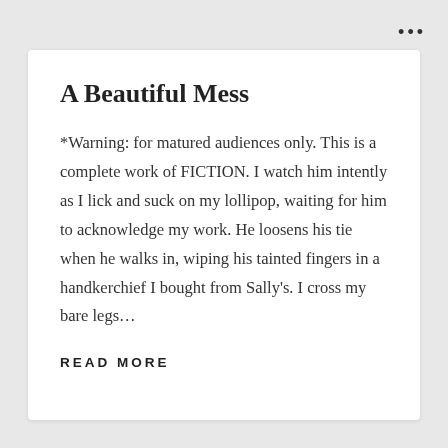A Beautiful Mess
*Warning: for matured audiences only. This is a complete work of FICTION. I watch him intently as I lick and suck on my lollipop, waiting for him to acknowledge my work. He loosens his tie when he walks in, wiping his tainted fingers in a handkerchief I bought from Sally's. I cross my bare legs…
READ MORE